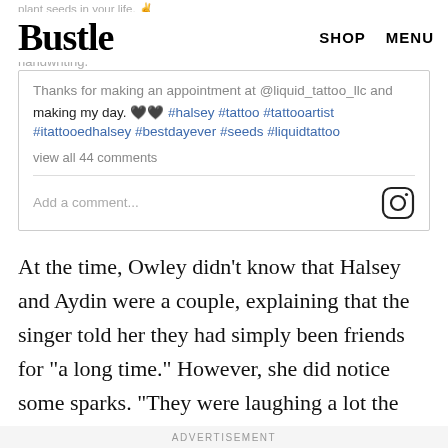Bustle  SHOP  MENU
plant seeds in your life. ✌️
handwriting.
Thanks for making an appointment at @liquid_tattoo_llc and making my day. 🖤🖤 #halsey #tattoo #tattooartist #itattooedhalsey #bestdayever #seeds #liquidtattoo
view all 44 comments
Add a comment...
At the time, Owley didn't know that Halsey and Aydin were a couple, explaining that the singer told her they had simply been friends for "a long time." However, she did notice some sparks. "They were laughing a lot the whole time," she said. "They were definitely really close."
ADVERTISEMENT